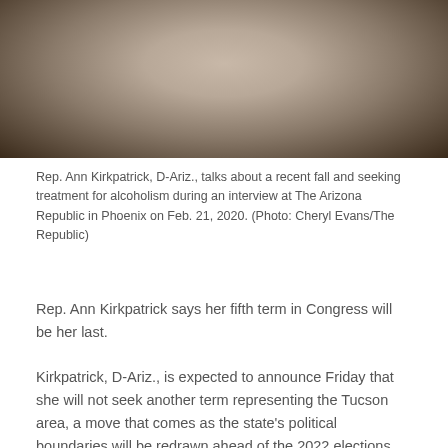[Figure (photo): Photo of Rep. Ann Kirkpatrick sitting and talking, wearing a light-colored knit sweater, with dark background]
Rep. Ann Kirkpatrick, D-Ariz., talks about a recent fall and seeking treatment for alcoholism during an interview at The Arizona Republic in Phoenix on Feb. 21, 2020. (Photo: Cheryl Evans/The Republic)
Rep. Ann Kirkpatrick says her fifth term in Congress will be her last.
Kirkpatrick, D-Ariz., is expected to announce Friday that she will not seek another term representing the Tucson area, a move that comes as the state’s political boundaries will be redrawn ahead of the 2022 elections.